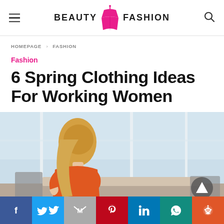BEAUTY FASHION
HOMEPAGE > FASHION
Fashion
6 Spring Clothing Ideas For Working Women
[Figure (photo): A woman with long blonde hair wearing an orange top, standing in a modern office with large windows overlooking a city skyline, viewed from behind]
Social share bar: Facebook, Twitter, Gmail, Pinterest, LinkedIn, WhatsApp, Reddit